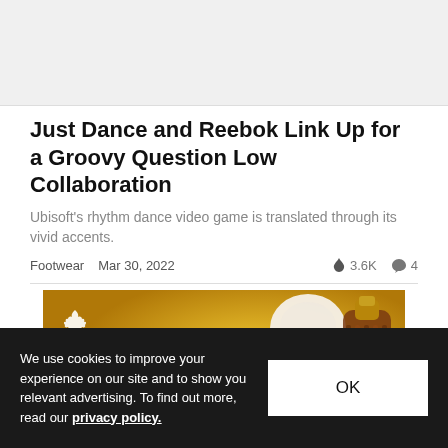[Figure (photo): Top cropped image area from article about Just Dance and Reebok collaboration]
Just Dance and Reebok Link Up for a Groovy Question Low Collaboration
Ubisoft's rhythm dance video game is translated through its vivid accents.
Footwear  Mar 30, 2022  🔥 3.6K  💬 4
[Figure (photo): Rémy Martin Cognac Fine Champagne advertisement with bottle and gold background. Text: DISCOVER OUR LATEST RÉMY MARTIN XO]
We use cookies to improve your experience on our site and to show you relevant advertising. To find out more, read our privacy policy.